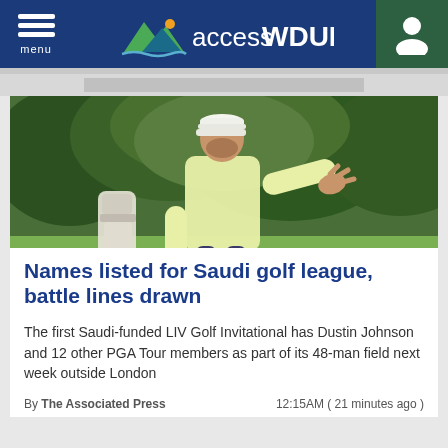accessWDUN — menu
[Figure (photo): Golfer in light yellow polo shirt gesturing on the fairway with a caddie bag visible, green trees in background. Likely Dustin Johnson.]
Names listed for Saudi golf league, battle lines drawn
The first Saudi-funded LIV Golf Invitational has Dustin Johnson and 12 other PGA Tour members as part of its 48-man field next week outside London
By The Associated Press   12:15AM ( 21 minutes ago )